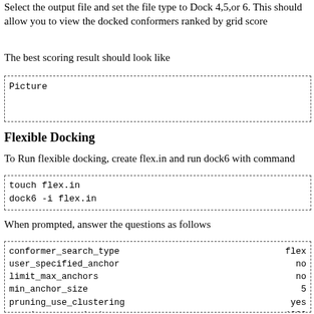Select the output file and set the file type to Dock 4,5,or 6. This should allow you to view the docked conformers ranked by grid score
The best scoring result should look like
[Figure (illustration): Placeholder box labeled 'Picture']
Flexible Docking
To Run flexible docking, create flex.in and run dock6 with command
touch flex.in
dock6 -i flex.in
When prompted, answer the questions as follows
| parameter | value |
| --- | --- |
| conformer_search_type | flex |
| user_specified_anchor | no |
| limit_max_anchors | no |
| min_anchor_size | 5 |
| pruning_use_clustering | yes |
| pruning_max_orients | 1000 |
| pruning_clustering_cutoff | 100 |
| pruning_conformer_score_cutoff | 100.0 |
| pruning_conformer_score_scaling_factor | 1.0 |
| use_clash_overlap | no |
| write_growth_tree | no |